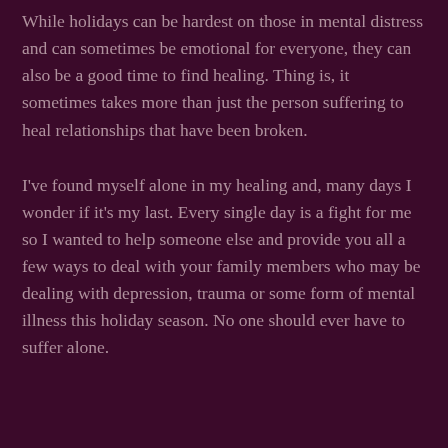While holidays can be hardest on those in mental distress and can sometimes be emotional for everyone, they can also be a good time to find healing. Thing is, it sometimes takes more than just the person suffering to heal relationships that have been broken.
I've found myself alone in my healing and, many days I wonder if it's my last. Every single day is a fight for me so I wanted to help someone else and provide you all a few ways to deal with your family members who may be dealing with depression, trauma or some form of mental illness this holiday season. No one should ever have to suffer alone.